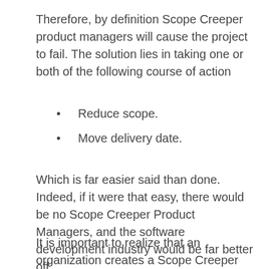Therefore, by definition Scope Creeper product managers will cause the project to fail. The solution lies in taking one or both of the following course of action
Reduce scope.
Move delivery date.
Which is far easier said than done. Indeed, if it were that easy, there would be no Scope Creeper Product Managers, and the software development industry would be far better off.
It is important to realize that an organization creates a Scope Creeper Product Manager by allowing the following tenets to remain in place: